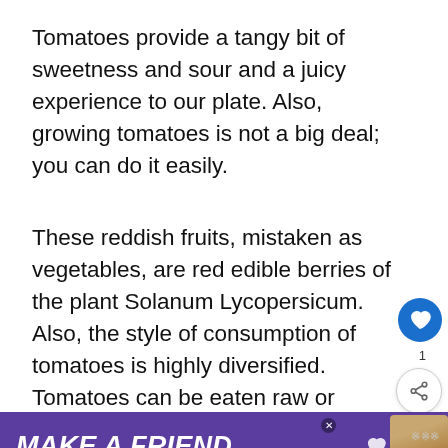Tomatoes provide a tangy bit of sweetness and sour and a juicy experience to our plate. Also, growing tomatoes is not a big deal; you can do it easily.
These reddish fruits, mistaken as vegetables, are red edible berries of the plant Solanum Lycopersicum. Also, the style of consumption of tomatoes is highly diversified. Tomatoes can be eaten raw or cooked.
We use cookies on our website to give you the most relevant experience by remembering your preferences and. By clicking “Accept”, you consent to the use of AL. Do not sell my personal information.
[Figure (screenshot): Website screenshot showing cookie consent banner, social share sidebar with heart icon and count of 1, share button, and a 'WHAT'S NEXT' widget showing 'The Top 11 Onion...' with a thumbnail image.]
[Figure (screenshot): Advertisement banner with purple background saying 'MAKE A FRIEND' with italic white bold text, a dog illustration, a heart icon, a close button, and a watermark logo.]